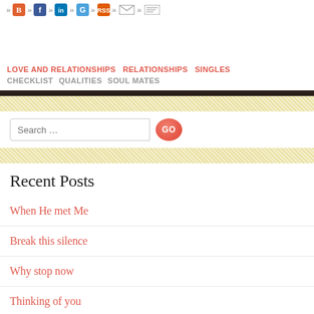» [Blogger] » [Facebook] » [LinkedIn] » [Google] » [RSS] » [Email]
LOVE AND RELATIONSHIPS   RELATIONSHIPS   SINGLES
CHECKLIST   QUALITIES   SOUL MATES
Search ...
Recent Posts
When He met Me
Break this silence
Why stop now
Thinking of you
Farewell